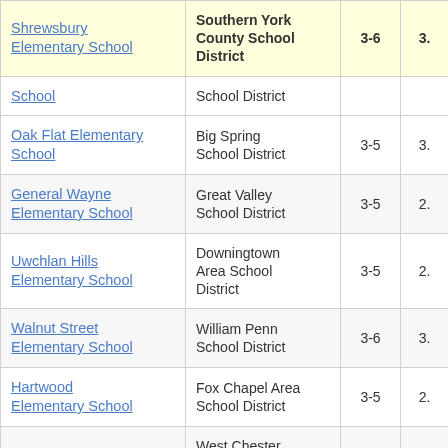| School | District | Grades | Score |
| --- | --- | --- | --- |
| Shrewsbury Elementary School | Southern York County School District | 3-6 | 3. |
| School | School District |  |  |
| Oak Flat Elementary School | Big Spring School District | 3-5 | 3. |
| General Wayne Elementary School | Great Valley School District | 3-5 | 2. |
| Uwchlan Hills Elementary School | Downingtown Area School District | 3-5 | 2. |
| Walnut Street Elementary School | William Penn School District | 3-6 | 3. |
| Hartwood Elementary School | Fox Chapel Area School District | 3-5 | 2. |
| East Bradford Elementary School | West Chester Area School District | 3-5 | 3. |